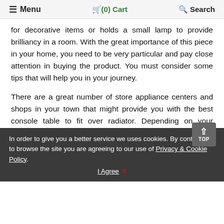≡ Menu  🛒(0) Cart  🔍 Search
for decorative items or holds a small lamp to provide brilliancy in a room. With the great importance of this piece in your home, you need to be very particular and pay close attention in buying the product. You must consider some tips that will help you in your journey.
There are a great number of store appliance centers and shops in your town that might provide you with the best console table to fit over radiator. Depending on your preference and needs, you must have a thorough check n the product before deciding to purchase it. If you wanted a sturdy material, you can go for glass or wooden console tables that is built of high quality geared to serve for lasting period of time. Check for the credibility of your console table to fit over radiator supplier. Will this dealer you preferred be able to satisfy your need for quality, affordability and great service? Gather a number of suppliers with proven credibility and compare their offers. Choosing one that
In order to give you a better service we uses cookies. By continuing to browse the site you are agreeing to our use of Privacy & Cookie Policy. I Agree  X